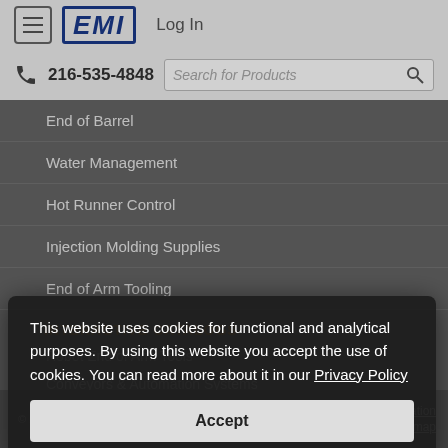EMI — Log In | 216-535-4848 | Search for Products
End of Barrel
Water Management
Hot Runner Control
Injection Molding Supplies
End of Arm Tooling
INTERACTIVE CATALOGS
Robot End of Arm Tools
Conveyors & Automation Systems
Collaborative Cobots
This website uses cookies for functional and analytical purposes. By using this website you accept the use of cookies. You can read more about it in our Privacy Policy
© 2022 EMI Corporation. All rights reserved. SSL Information | EMI Sitemap